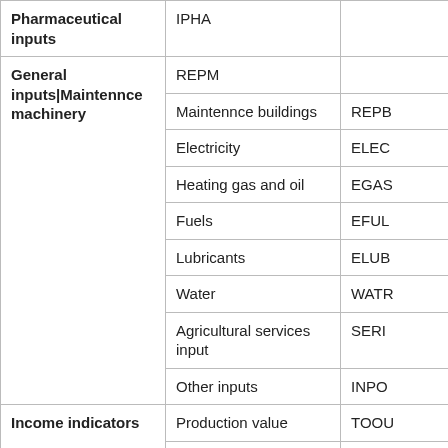| Category | Sub-category | Code |
| --- | --- | --- |
| Pharmaceutical inputs | IPHA |  |
| General inputs|Maintennce machinery | REPM |  |
|  | Maintennce buildings | REPB |
|  | Electricity | ELEC |
|  | Heating gas and oil | EGAS |
|  | Fuels | EFUL |
|  | Lubricants | ELUB |
|  | Water | WATR |
|  | Agricultural services input | SERI |
|  | Other inputs | INPO |
| Income indicators | Production value | TOOU |
|  | ... | ... |